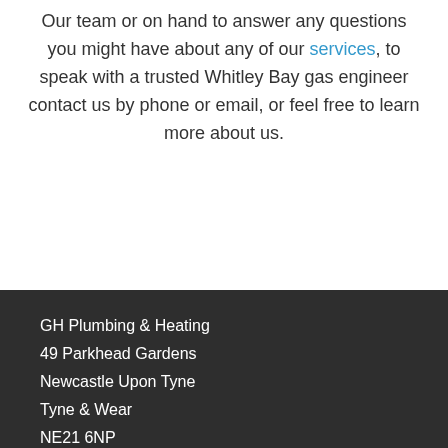Our team or on hand to answer any questions you might have about any of our services, to speak with a trusted Whitley Bay gas engineer contact us by phone or email, or feel free to learn more about us.
GH Plumbing & Heating
49 Parkhead Gardens
Newcastle Upon Tyne
Tyne & Wear
NE21 6NP